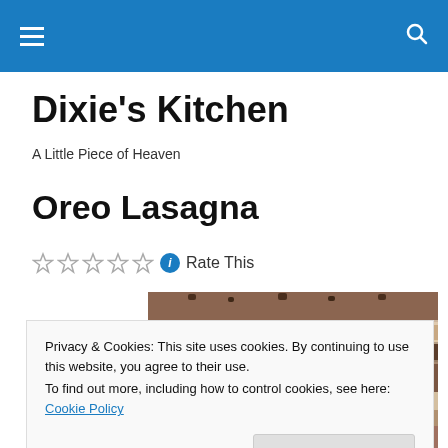Dixie's Kitchen
A Little Piece of Heaven
Oreo Lasagna
Rate This
[Figure (photo): Photo of Oreo Lasagna dessert, showing layered chocolate and cream dish]
Privacy & Cookies: This site uses cookies. By continuing to use this website, you agree to their use.
To find out more, including how to control cookies, see here: Cookie Policy